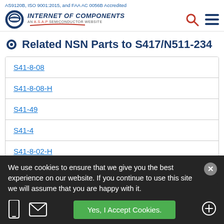AS9120B, ISO 9001:2015, and FAA AC 0056B Accredited — Internet of Components, An A.S.A.P Semiconductor Website
Related NSN Parts to S417/N511-234
S41-8-08
S41-8-08-H
S41-49
S41-4
S41-8-02-H
We use cookies to ensure that we give you the best experience on our website. If you continue to use this site we will assume that you are happy with it.
Yes, I Accept Cookies.